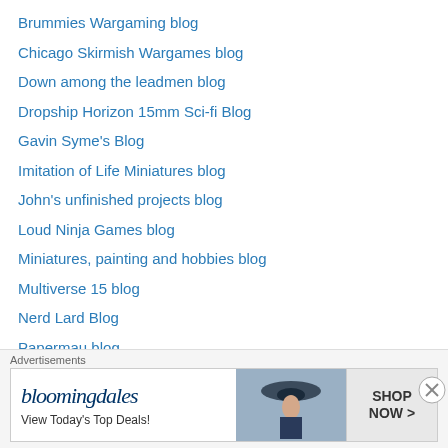Brummies Wargaming blog
Chicago Skirmish Wargames blog
Down among the leadmen blog
Dropship Horizon 15mm Sci-fi Blog
Gavin Syme's Blog
Imitation of Life Miniatures blog
John's unfinished projects blog
Loud Ninja Games blog
Miniatures, painting and hobbies blog
Multiverse 15 blog
Nerd Lard Blog
Papermau blog
Rantings from under the Wargames Table
Round Dave's blog
Rovanite's Blog
Shed Wars Blog
Advertisements
[Figure (other): Bloomingdale's advertisement banner: 'bloomingdales - View Today's Top Deals!' with SHOP NOW button and photo of woman in hat]